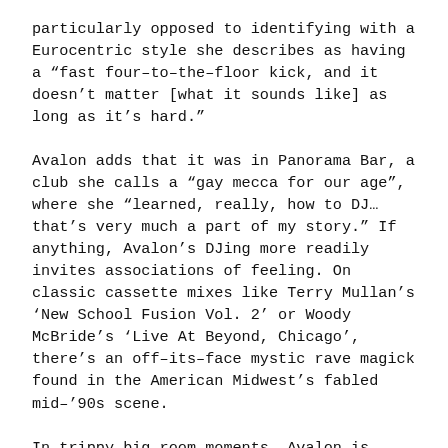particularly opposed to identifying with a Eurocentric style she describes as having a “fast four–to–the–floor kick, and it doesn’t matter [what it sounds like] as long as it’s hard.”
Avalon adds that it was in Panorama Bar, a club she calls a “gay mecca for our age”, where she “learned, really, how to DJ… that’s very much a part of my story.” If anything, Avalon’s DJing more readily invites associations of feeling. On classic cassette mixes like Terry Mullan’s ‘New School Fusion Vol. 2’ or Woody McBride’s ‘Live At Beyond, Chicago’, there’s an off–its–face mystic rave magick found in the American Midwest’s fabled mid–’90s scene.
In trippy big–room moments, Avalon is capable of casting a similar spell. Take her fantastic set at